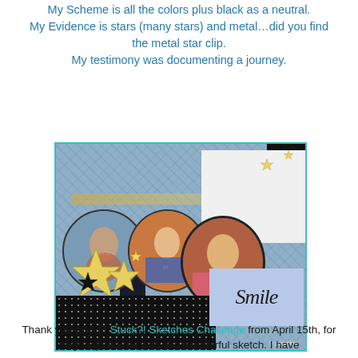My Scheme is all the colors plus black as a neutral. My Evidence is stars (many stars) and metal…did you find the metal star clip. My testimony was documenting a journey.
[Figure (photo): A scrapbook page with three photos of children in circular/oval frames on a blue crosshatch background, decorated with star cutouts and embellishments, black and white patterned paper strips, red polka dot paper, and a 'Smile' label card on a lavender background.]
Thank you also to Stuck?! Sketches Challenge from April 15th, for they inspired me with this wonderful sketch. I have